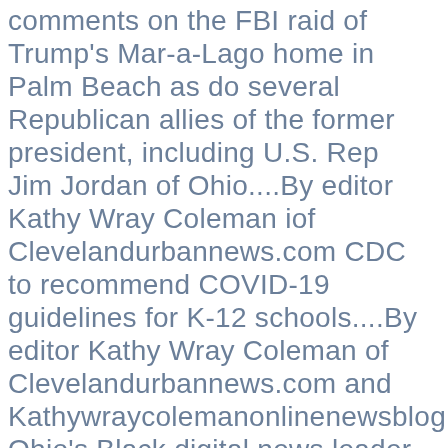comments on the FBI raid of Trump's Mar-a-Lago home in Palm Beach as do several Republican allies of the former president, including U.S. Rep Jim Jordan of Ohio....By editor Kathy Wray Coleman iof Clevelandurbannews.com CDC to recommend COVID-19 guidelines for K-12 schools....By editor Kathy Wray Coleman of Clevelandurbannews.com and Kathywraycolemanonlinenewsblog.com, Ohio's Black digital news leader Ninteen-year-old Black woman is convicted of killing a Cleveland cop on New Years Eve with